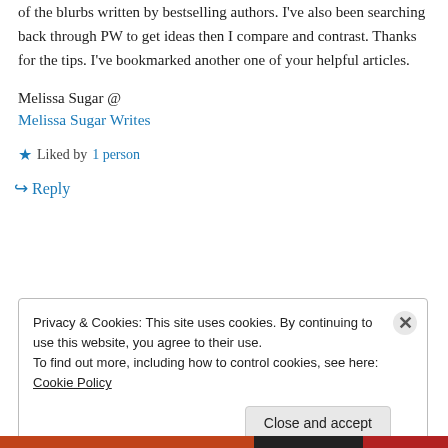of the blurbs written by bestselling authors. I've also been searching back through PW to get ideas then I compare and contrast. Thanks for the tips. I've bookmarked another one of your helpful articles.
Melissa Sugar @
Melissa Sugar Writes
★ Liked by 1 person
↪ Reply
Privacy & Cookies: This site uses cookies. By continuing to use this website, you agree to their use.
To find out more, including how to control cookies, see here: Cookie Policy
Close and accept